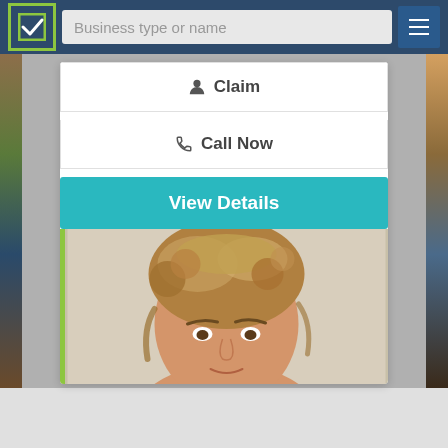Business type or name
Claim
Call Now
View Details
[Figure (photo): Close-up photo of a middle-aged woman with curly blonde/brown hair against a light background. A green left border is visible.]